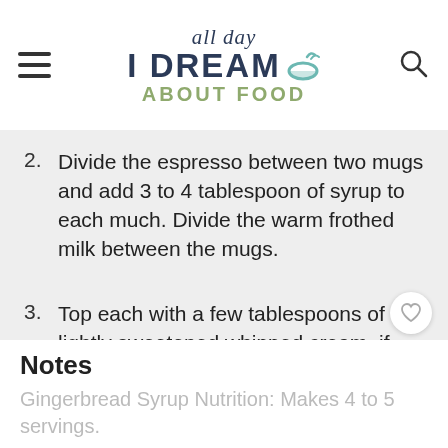all day I DREAM ABOUT FOOD
2. Divide the espresso between two mugs and add 3 to 4 tablespoon of syrup to each much. Divide the warm frothed milk between the mugs.
3. Top each with a few tablespoons of lightly sweetened whipped cream, if desired.
Notes
Gingerbread Syrup Nutrition: Makes 4 to 5 servings.